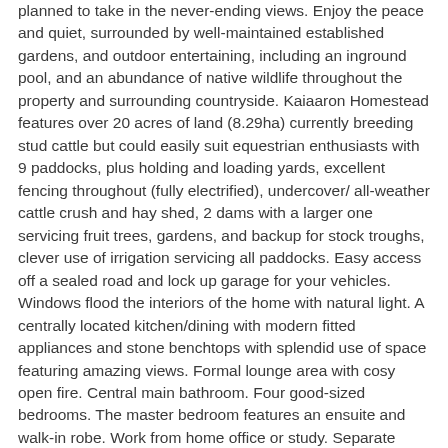planned to take in the never-ending views. Enjoy the peace and quiet, surrounded by well-maintained established gardens, and outdoor entertaining, including an inground pool, and an abundance of native wildlife throughout the property and surrounding countryside. Kaiaaron Homestead features over 20 acres of land (8.29ha) currently breeding stud cattle but could easily suit equestrian enthusiasts with 9 paddocks, plus holding and loading yards, excellent fencing throughout (fully electrified), undercover/ all-weather cattle crush and hay shed, 2 dams with a larger one servicing fruit trees, gardens, and backup for stock troughs, clever use of irrigation servicing all paddocks. Easy access off a sealed road and lock up garage for your vehicles. Windows flood the interiors of the home with natural light. A centrally located kitchen/dining with modern fitted appliances and stone benchtops with splendid use of space featuring amazing views. Formal lounge area with cosy open fire. Central main bathroom. Four good-sized bedrooms. The master bedroom features an ensuite and walk-in robe. Work from home office or study. Separate rumpus/games room or teenage retreat. Ideal opportunity to...